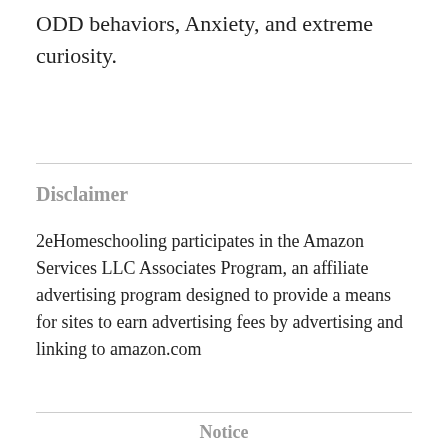ODD behaviors, Anxiety, and extreme curiosity.
Disclaimer
2eHomeschooling participates in the Amazon Services LLC Associates Program, an affiliate advertising program designed to provide a means for sites to earn advertising fees by advertising and linking to amazon.com
Notice